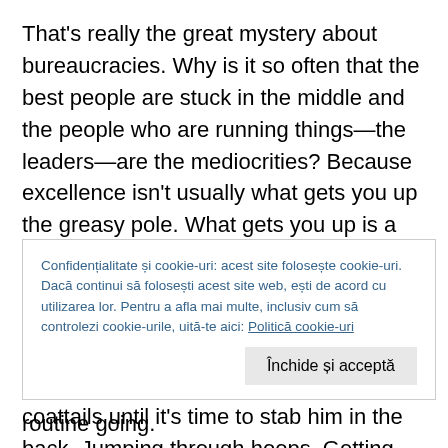That's really the great mystery about bureaucracies. Why is it so often that the best people are stuck in the middle and the people who are running things—the leaders—are the mediocrities? Because excellence isn't usually what gets you up the greasy pole. What gets you up is a talent for maneuvering. Kissing up to the people above you, kicking down to the people below you. Pleasing your teachers, pleasing your superiors, picking a powerful mentor and riding his coattails until it's time to stab him in the back. Jumping through hoops. Getting along by going along. Being whatever other people want you to be, so ... routine going.
Confidențialitate și cookie-uri: acest site folosește cookie-uri. Dacă continui să folosești acest site web, ești de acord cu utilizarea lor. Pentru a afla mai multe, inclusiv cum să controlezi cookie-urile, uită-te aici: Politică cookie-uri